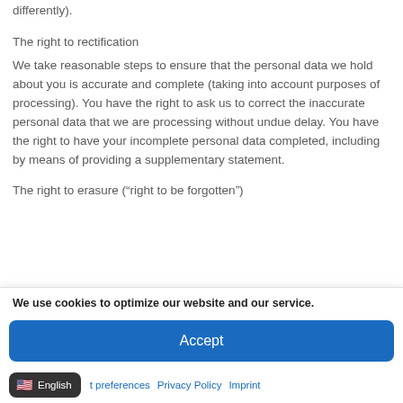differently).
The right to rectification
We take reasonable steps to ensure that the personal data we hold about you is accurate and complete (taking into account purposes of processing). You have the right to ask us to correct the inaccurate personal data that we are processing without undue delay. You have the right to have your incomplete personal data completed, including by means of providing a supplementary statement.
The right to erasure (“right to be forgotten”)
We use cookies to optimize our website and our service.
Accept
English   t preferences   Privacy Policy   Imprint